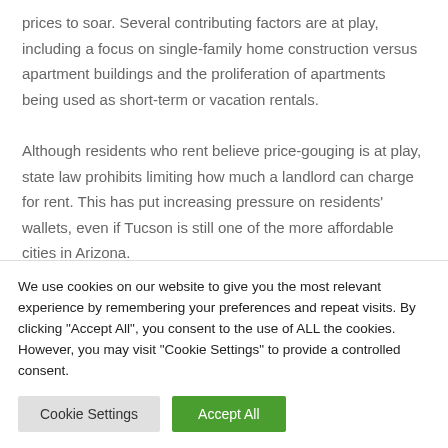prices to soar. Several contributing factors are at play, including a focus on single-family home construction versus apartment buildings and the proliferation of apartments being used as short-term or vacation rentals.
Although residents who rent believe price-gouging is at play, state law prohibits limiting how much a landlord can charge for rent. This has put increasing pressure on residents' wallets, even if Tucson is still one of the more affordable cities in Arizona.
#5 Phoenix
We use cookies on our website to give you the most relevant experience by remembering your preferences and repeat visits. By clicking "Accept All", you consent to the use of ALL the cookies. However, you may visit "Cookie Settings" to provide a controlled consent.